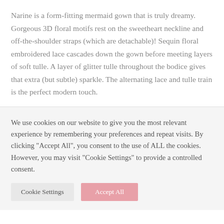Narine is a form-fitting mermaid gown that is truly dreamy. Gorgeous 3D floral motifs rest on the sweetheart neckline and off-the-shoulder straps (which are detachable)! Sequin floral embroidered lace cascades down the gown before meeting layers of soft tulle. A layer of glitter tulle throughout the bodice gives that extra (but subtle) sparkle. The alternating lace and tulle train is the perfect modern touch.
We use cookies on our website to give you the most relevant experience by remembering your preferences and repeat visits. By clicking "Accept All", you consent to the use of ALL the cookies. However, you may visit "Cookie Settings" to provide a controlled consent.
Cookie Settings | Accept All